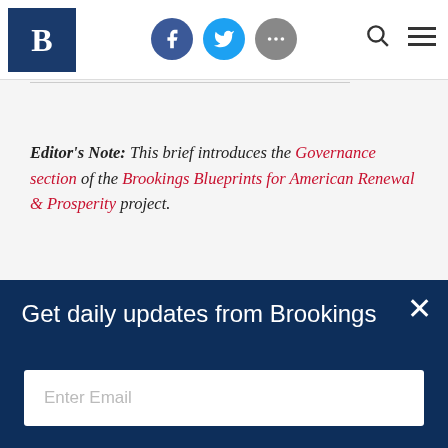Brookings Institution website header with logo, social icons (Facebook, Twitter, more), search and menu buttons
Editor's Note: This brief introduces the Governance section of the Brookings Blueprints for American Renewal & Prosperity project.
[Figure (photo): Book/report cover image for 'Blueprints for American Renewal & Prosperity' with blue gradient background and white text]
Get daily updates from Brookings
Enter Email